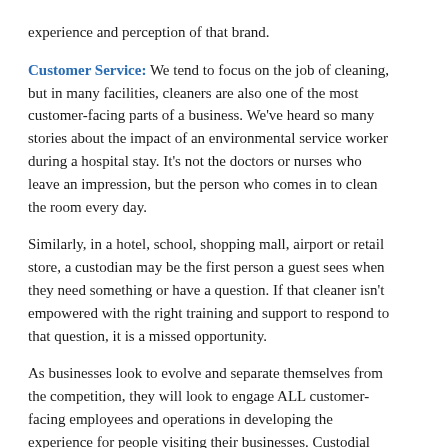experience and perception of that brand.
Customer Service: We tend to focus on the job of cleaning, but in many facilities, cleaners are also one of the most customer-facing parts of a business. We’ve heard so many stories about the impact of an environmental service worker during a hospital stay. It’s not the doctors or nurses who leave an impression, but the person who comes in to clean the room every day.
Similarly, in a hotel, school, shopping mall, airport or retail store, a custodian may be the first person a guest sees when they need something or have a question. If that cleaner isn’t empowered with the right training and support to respond to that question, it is a missed opportunity.
As businesses look to evolve and separate themselves from the competition, they will look to engage ALL customer-facing employees and operations in developing the experience for people visiting their businesses. Custodial departments can—and will— play a vital role in that effort. As a cleaning professional, the better you can communicate this, the more invaluable you become.